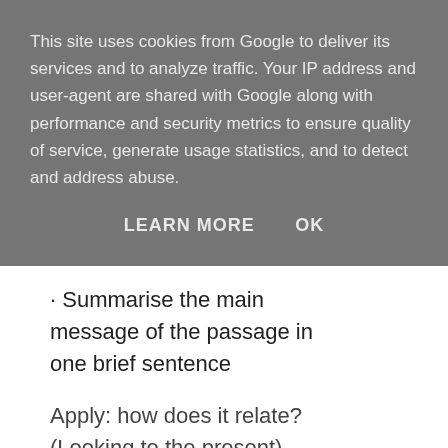This site uses cookies from Google to deliver its services and to analyze traffic. Your IP address and user-agent are shared with Google along with performance and security metrics to ensure quality of service, generate usage statistics, and to detect and address abuse.
LEARN MORE    OK
· Summarise the main message of the passage in one brief sentence
Apply: how does it relate? (Looking to the present)
5. Then